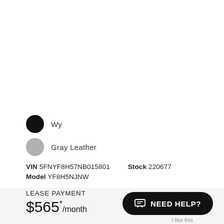Wy
Gray Leather
VIN 5FNYF8H57NB015801  Stock 220677  Model YF8H5NJNW
LEASE PAYMENT
$565*/month
After $499 dealer discount
NEED HELP?